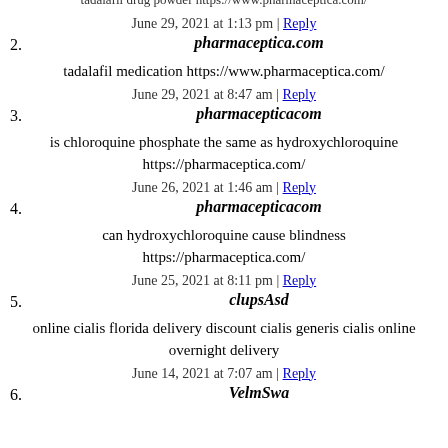tadalafil drug powder https://www.pharmaceptica.com/
June 29, 2021 at 1:13 pm | Reply
2. pharmaceptica.com
tadalafil medication https://www.pharmaceptica.com/
June 29, 2021 at 8:47 am | Reply
3. pharmacepticacom
is chloroquine phosphate the same as hydroxychloroquine https://pharmaceptica.com/
June 26, 2021 at 1:46 am | Reply
4. pharmacepticacom
can hydroxychloroquine cause blindness https://pharmaceptica.com/
June 25, 2021 at 8:11 pm | Reply
5. clupsAsd
online cialis florida delivery discount cialis generis cialis online overnight delivery
June 14, 2021 at 7:07 am | Reply
6. VelmSwa